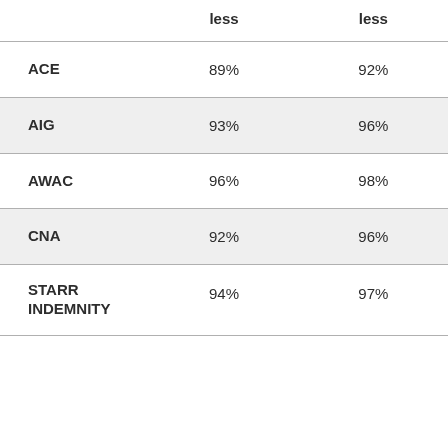|  | less | less |
| --- | --- | --- |
| ACE | 89% | 92% |
| AIG | 93% | 96% |
| AWAC | 96% | 98% |
| CNA | 92% | 96% |
| STARR INDEMNITY | 94% | 97% |